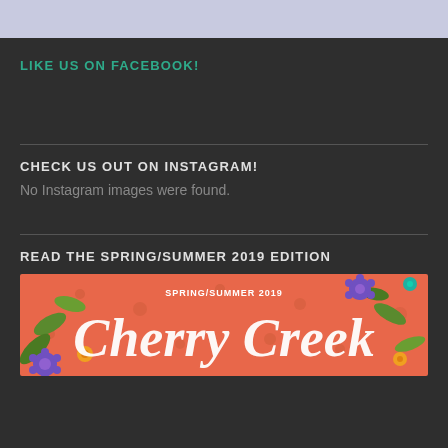LIKE US ON FACEBOOK!
CHECK US OUT ON INSTAGRAM!
No Instagram images were found.
READ THE SPRING/SUMMER 2019 EDITION
[Figure (illustration): Cherry Creek Spring/Summer 2019 magazine cover with floral illustration featuring purple flowers, orange flowers, green leaves on a coral/orange background with white text reading 'SPRING/SUMMER 2019 Cherry Creek']